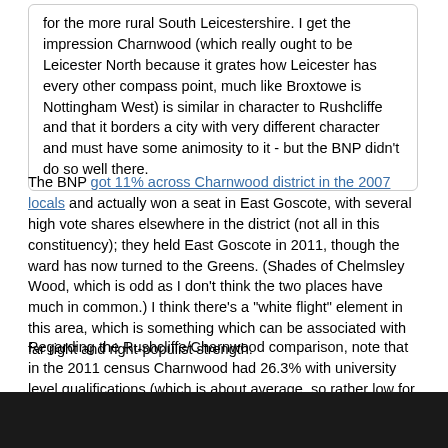for the more rural South Leicestershire. I get the impression Charnwood (which really ought to be Leicester North because it grates how Leicester has every other compass point, much like Broxtowe is Nottingham West) is similar in character to Rushcliffe and that it borders a city with very different character and must have some animosity to it - but the BNP didn't do so well there.
The BNP got 11% across Charnwood district in the 2007 locals and actually won a seat in East Goscote, with several high vote shares elsewhere in the district (not all in this constituency); they held East Goscote in 2011, though the ward has now turned to the Greens. (Shades of Chelmsley Wood, which is odd as I don't think the two places have much in common.) I think there's a "white flight" element in this area, which is something which can be associated with far right and right-populist strength.
Regarding the Rushcliffe/Charnwood comparison, note that in the 2011 census Charnwood had 26.3% with university level qualifications (which is about average, so rather low for a basically "middle class" constituency) whereas Rushcliffe had 39.9%. Not unrelated to that, there's a big difference in the estimated Leave vote: 41% in Rushcliffe and 58% in Charnwood. So they may both be middle class and low deprivation (both are bottom decile in the IMD) and associated to East Midlands cities, but there are clear